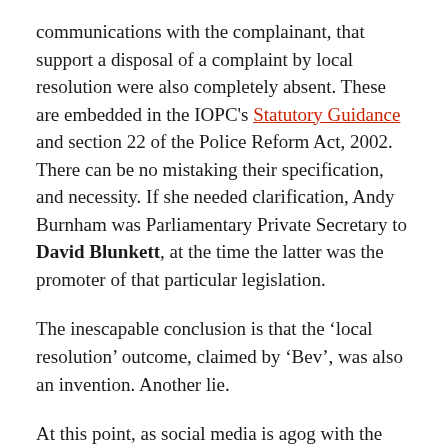communications with the complainant, that support a disposal of a complaint by local resolution were also completely absent. These are embedded in the IOPC's Statutory Guidance and section 22 of the Police Reform Act, 2002. There can be no mistaking their specification, and necessity. If she needed clarification, Andy Burnham was Parliamentary Private Secretary to David Blunkett, at the time the latter was the promoter of that particular legislation.
The inescapable conclusion is that the ‘local resolution’ outcome, claimed by ‘Bev’, was also an invention. Another lie.
At this point, as social media is agog with the latest Manchester police scandal, in steps the Mayor himself, again: Andy Burnham writes to Pete Jackson and only